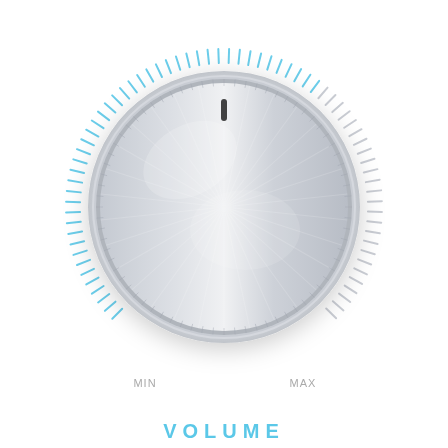[Figure (illustration): A metallic silver rotary volume knob with brushed metal finish and a dark indicator line at top center. Surrounding the knob is a circular ring of tick marks: the left/active portion (from bottom-left through top to center-right) is rendered in blue, and the right/inactive portion is rendered in light gray. MIN label appears at bottom-left of the ring and MAX label at bottom-right. The word VOLUME appears in blue at the very bottom of the image.]